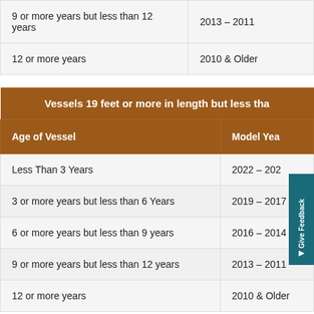| Age of Vessel | Model Year |
| --- | --- |
| 9 or more years but less than 12 years | 2013 – 2011 |
| 12 or more years | 2010 & Older |
| Vessels 19 feet or more in length but less tha… |  |
| --- | --- |
| Age of Vessel | Model Year |
| Less Than 3 Years | 2022 – 202… |
| 3 or more years but less than 6 Years | 2019 – 2017 |
| 6 or more years but less than 9 years | 2016 – 2014 |
| 9 or more years but less than 12 years | 2013 – 2011 |
| 12 or more years | 2010 & Older |